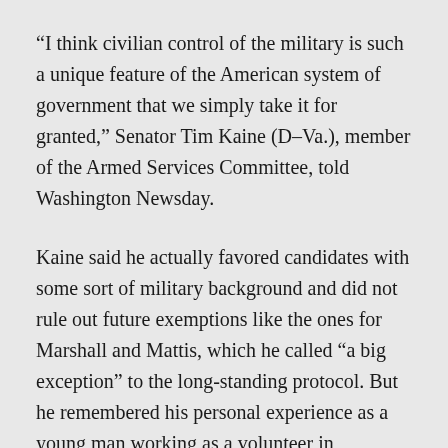“I think civilian control of the military is such a unique feature of the American system of government that we simply take it for granted,” Senator Tim Kaine (D–Va.), member of the Armed Services Committee, told Washington Newsday.
Kaine said he actually favored candidates with some sort of military background and did not rule out future exemptions like the ones for Marshall and Mattis, which he called “a big exception” to the long-standing protocol. But he remembered his personal experience as a young man working as a volunteer in Honduras, where he lived under military rule, which influenced his thinking on the